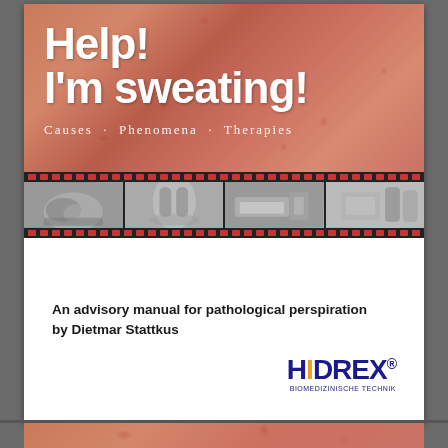[Figure (photo): Book cover for 'Help! I'm sweating!' showing close-up skin texture in orange-red tones at top, white bold title text overlaid, subtitle 'Causes · Phenomena · Therapies', and a filmstrip at bottom with four grayscale medical photos showing feet/legs, hands, medical device, and vials/equipment.]
An advisory manual for pathological perspiration
by Dietmar Stattkus
[Figure (logo): HIDREX logo with H, D, R, E, X in dark blue and I in orange/gold, with registered trademark symbol, and 'BIOMEDIZINISCHE TECHNIK' subtitle in small text below]
[Figure (photo): Partial view of a second page beginning at the bottom, showing skin texture similar to the cover]